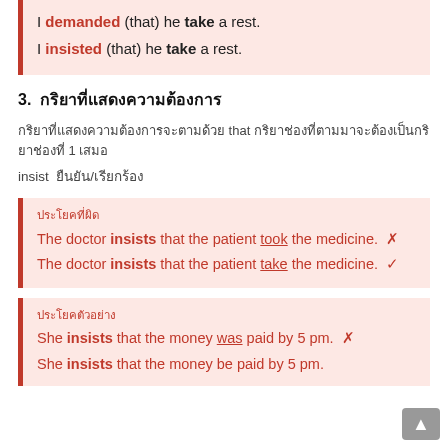I demanded (that) he take a rest.
I insisted (that) he take a rest.
3.  กริยาที่แสดงความต้องการ
กริยาที่แสดงความต้องการจะตามด้วย that และตามด้วยกริยาช่องที่ 1 เสมอ
insist ยืนยัน/เรียกร้อง
ประโยคผิด
The doctor insists that the patient took the medicine. ✗
The doctor insists that the patient take the medicine. ✓
ประโยคตัวอย่าง
She insists that the money was paid by 5 pm. ✗
She insists that the money be paid by 5 pm.